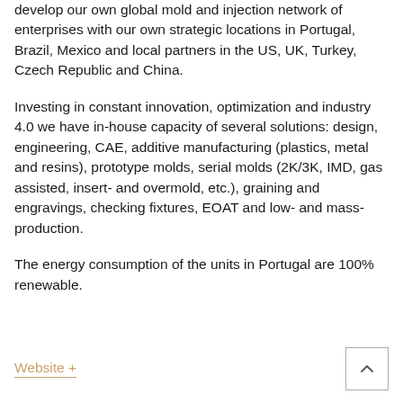develop our own global mold and injection network of enterprises with our own strategic locations in Portugal, Brazil, Mexico and local partners in the US, UK, Turkey, Czech Republic and China.
Investing in constant innovation, optimization and industry 4.0 we have in-house capacity of several solutions: design, engineering, CAE, additive manufacturing (plastics, metal and resins), prototype molds, serial molds (2K/3K, IMD, gas assisted, insert- and overmold, etc.), graining and engravings, checking fixtures, EOAT and low- and mass-production.
The energy consumption of the units in Portugal are 100% renewable.
Website +